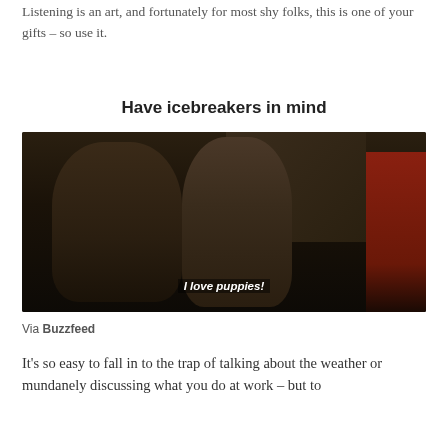Listening is an art, and fortunately for most shy folks, this is one of your gifts – so use it.
Have icebreakers in mind
[Figure (photo): Dark movie still showing a man in a suit and tie and a woman in a sparkly dress smiling at a dinner party, with a subtitle reading 'I love puppies!']
Via Buzzfeed
It's so easy to fall in to the trap of talking about the weather or mundanely discussing what you do at work – but to